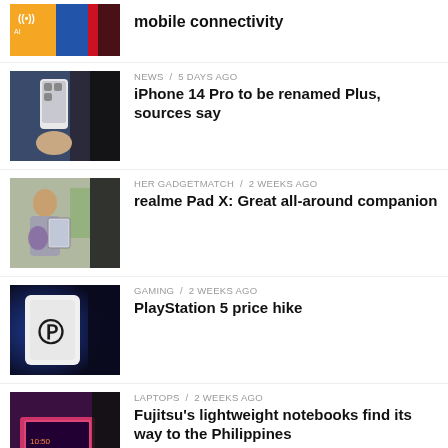mobile connectivity
NEWS / 5 days ago
iPhone 14 Pro to be renamed Plus, sources say
HER GADGETMATCH / 2 weeks ago
realme Pad X: Great all-around companion
GAMING / 2 weeks ago
PlayStation 5 price hike
LAPTOPS / 2 weeks ago
Fujitsu's lightweight notebooks find its way to the Philippines
ACCESSORIES / 2 weeks ago
The state of...